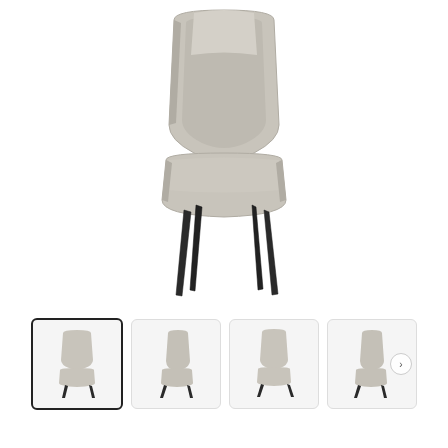[Figure (photo): Main product photo of a modern dining chair with light gray/beige upholstered seat and back, and dark black tapered legs, viewed from a slightly elevated front angle against white background.]
[Figure (photo): Thumbnail row showing four small images of the same gray upholstered dining chair from different angles: front-left, side-left, front, and side-right. First thumbnail is selected with a black border. A right navigation arrow button appears at far right.]